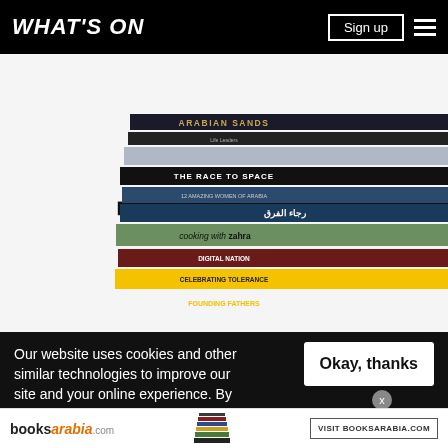WHAT'S ON
[Figure (photo): A stack of books published by Motivate Publishing, including titles such as Arabian Sands, The Race to Space, Cooking with Zahra, Digital Nation, Celebrating Tolerance, and Founding Fathers, arranged in a tall pile against a white background.]
Our website uses cookies and other similar technologies to improve our site and your online experience. By continuing to use our website you consent to our privacy policy.
[Figure (logo): booksarabia.com logo with a small stack of books icon and text reading VISIT BOOKSARABIA.COM]